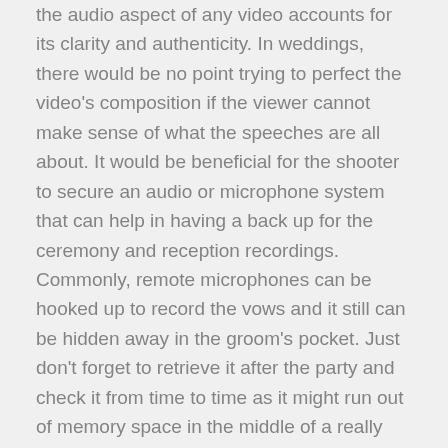the audio aspect of any video accounts for its clarity and authenticity. In weddings, there would be no point trying to perfect the video's composition if the viewer cannot make sense of what the speeches are all about. It would be beneficial for the shooter to secure an audio or microphone system that can help in having a back up for the ceremony and reception recordings. Commonly, remote microphones can be hooked up to record the vows and it still can be hidden away in the groom's pocket. Just don't forget to retrieve it after the party and check it from time to time as it might run out of memory space in the middle of a really long speech.
Be prepared. Anticipating the day's schedule and double-checking all gears before heading to the location are all part of the said preparation. However, it goes far more than the itinerary and the equipment. Professional videographers suggest that shooters attend the rehearsals to be able to properly see the venue itself and also to